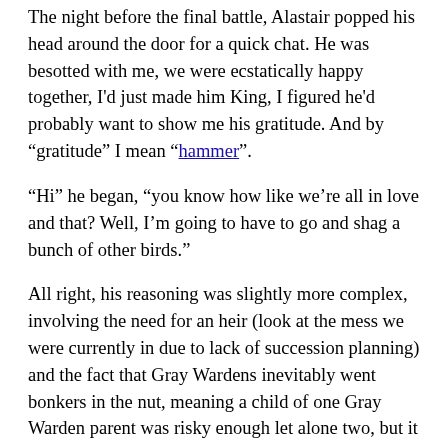The night before the final battle, Alastair popped his head around the door for a quick chat. He was besotted with me, we were ecstatically happy together, I'd just made him King, I figured he'd probably want to show me his gratitude. And by "gratitude" I mean "hammer".
"Hi" he began, "you know how like we're all in love and that? Well, I'm going to have to go and shag a bunch of other birds."
All right, his reasoning was slightly more complex, involving the need for an heir (look at the mess we were currently in due to lack of succession planning) and the fact that Gray Wardens inevitably went bonkers in the nut, meaning a child of one Gray Warden parent was risky enough let alone two, but it was still a kick in the teeth. I went back to Leilana and tried to persuade her that when she'd given the ultimatum and made me pick either her or Alistair she must've misheard me, I didn't say "well regretfully I'll have to choose Alistair" at all, it was actually "sod Alistair, he's just going to go off and